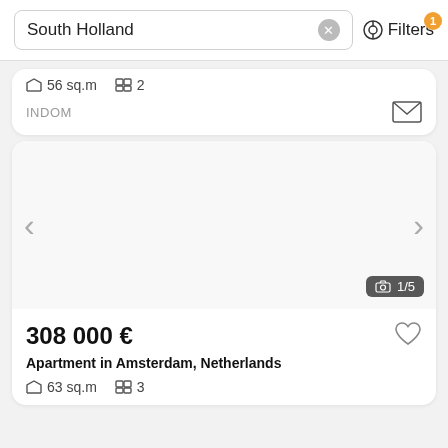South Holland — Filters (1)
56 sq.m  2
INDOM
[Figure (screenshot): Property listing card image area with left/right navigation arrows and photo counter showing 1/5]
308 000 €
Apartment in Amsterdam, Netherlands
63 sq.m  3